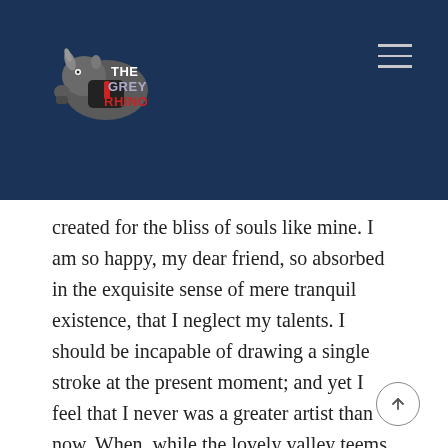[Figure (logo): The Grey Rhino logo — cartoon rhino mascot with text 'THE GREY RHINO' in red, white, and blue]
created for the bliss of souls like mine. I am so happy, my dear friend, so absorbed in the exquisite sense of mere tranquil existence, that I neglect my talents. I should be incapable of drawing a single stroke at the present moment; and yet I feel that I never was a greater artist than now. When, while the lovely valley teems with vapor around me,